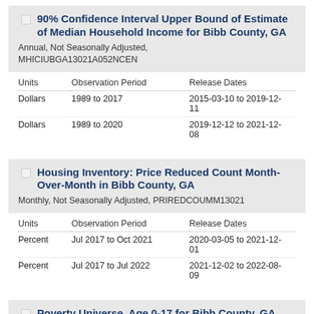90% Confidence Interval Upper Bound of Estimate of Median Household Income for Bibb County, GA
Annual, Not Seasonally Adjusted, MHICIUBGA13021A052NCEN
| Units | Observation Period | Release Dates |
| --- | --- | --- |
| Dollars | 1989 to 2017 | 2015-03-10 to 2019-12-11 |
| Dollars | 1989 to 2020 | 2019-12-12 to 2021-12-08 |
Housing Inventory: Price Reduced Count Month-Over-Month in Bibb County, GA
Monthly, Not Seasonally Adjusted, PRIREDCOUMM13021
| Units | Observation Period | Release Dates |
| --- | --- | --- |
| Percent | Jul 2017 to Oct 2021 | 2020-03-05 to 2021-12-01 |
| Percent | Jul 2017 to Jul 2022 | 2021-12-02 to 2022-08-09 |
Poverty Universe, Age 0-17 for Bibb County, GA